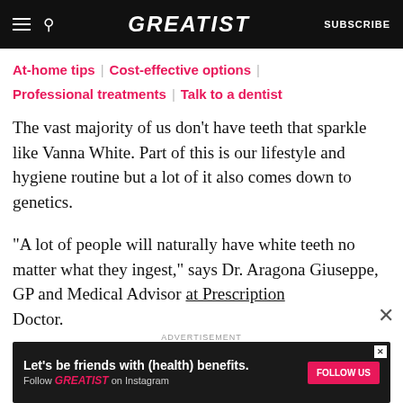GREATIST | SUBSCRIBE
At-home tips | Cost-effective options | Professional treatments | Talk to a dentist
The vast majority of us don’t have teeth that sparkle like Vanna White. Part of this is our lifestyle and hygiene routine but a lot of it also comes down to genetics.
“A lot of people will naturally have white teeth no matter what they ingest,” says Dr. Aragona Giuseppe, GP and Medical Advisor at Prescription Doctor.
[Figure (screenshot): Advertisement banner: dark background with text 'Let’s be friends with (health) benefits. Follow GREATIST on Instagram' and a pink 'FOLLOW US' button.]